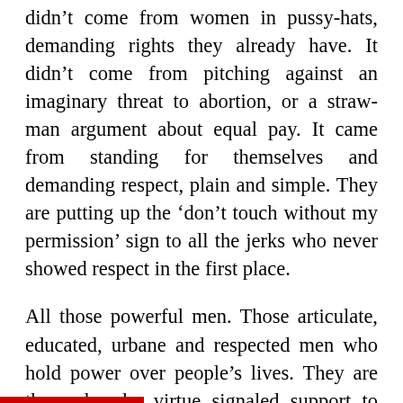didn't come from women in pussy-hats, demanding rights they already have. It didn't come from pitching against an imaginary threat to abortion, or a straw-man argument about equal pay. It came from standing for themselves and demanding respect, plain and simple. They are putting up the ‘don’t touch without my permission’ sign to all the jerks who never showed respect in the first place.
All those powerful men. Those articulate, educated, urbane and respected men who hold power over people’s lives. They are the cads who virtue signaled support to feminism with a hand on their crotch and a wink in their eye. Feminists didn’t bring them down, women did.